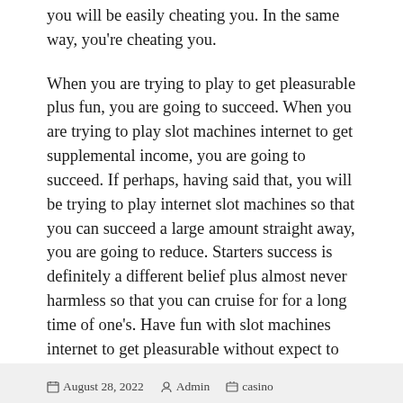you will be easily cheating you. In the same way, you're cheating you.
When you are trying to play to get pleasurable plus fun, you are going to succeed. When you are trying to play slot machines internet to get supplemental income, you are going to succeed. If perhaps, having said that, you will be trying to play internet slot machines so that you can succeed a large amount straight away, you are going to reduce. Starters success is definitely a different belief plus almost never harmless so that you can cruise for for a long time of one's. Have fun with slot machines internet to get pleasurable without expect to have this cheating helps a person's prospects and also winning over a slot machines is definitely sure.
August 28, 2022   Admin   casino